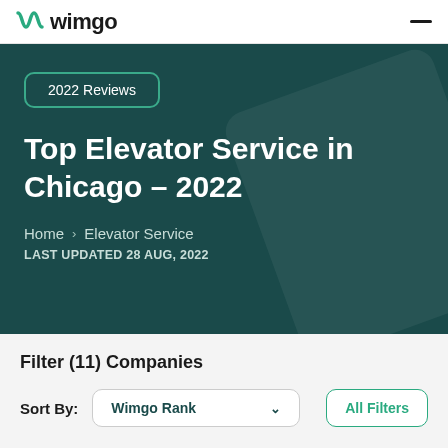wimgo
2022 Reviews
Top Elevator Service in Chicago – 2022
Home > Elevator Service
LAST UPDATED 28 Aug, 2022
Filter (11) Companies
Sort By: Wimgo Rank
All Filters